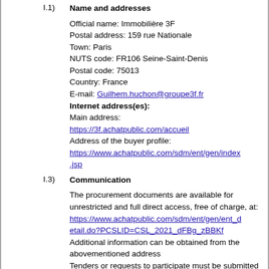I.1) Name and addresses
Official name: Immobilière 3F
Postal address: 159 rue Nationale
Town: Paris
NUTS code: FR106 Seine-Saint-Denis
Postal code: 75013
Country: France
E-mail: Guilhem.huchon@groupe3f.fr
Internet address(es):
Main address:
https://3f.achatpublic.com/accueil
Address of the buyer profile:
https://www.achatpublic.com/sdm/ent/gen/index.jsp
I.3) Communication
The procurement documents are available for unrestricted and full direct access, free of charge, at:
https://www.achatpublic.com/sdm/ent/gen/ent_detail.do?PCSLID=CSL_2021_dFBg_zBBKf
Additional information can be obtained from the abovementioned address
Tenders or requests to participate must be submitted electronically via: